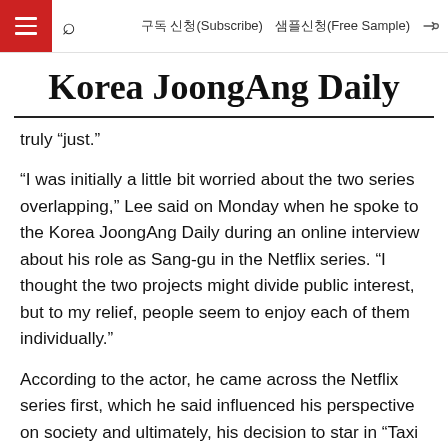구독 신청(Subscribe)   샘플신청(Free Sample)
Korea JoongAng Daily
truly “just.”
“I was initially a little bit worried about the two series overlapping,” Lee said on Monday when he spoke to the Korea JoongAng Daily during an online interview about his role as Sang-gu in the Netflix series. “I thought the two projects might divide public interest, but to my relief, people seem to enjoy each of them individually.”
According to the actor, he came across the Netflix series first, which he said influenced his perspective on society and ultimately, his decision to star in “Taxi Driver.”
“After my decision to star in ‘Move to Heaven,’ I became more interested in people and society,” Lee said. “The heart of the series